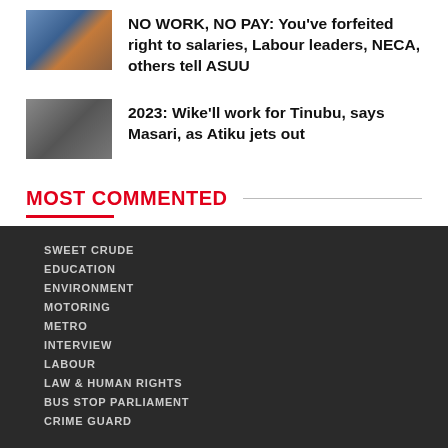NO WORK, NO PAY: You've forfeited right to salaries, Labour leaders, NECA, others tell ASUU
2023: Wike'll work for Tinubu, says Masari, as Atiku jets out
MOST COMMENTED
SWEET CRUDE
EDUCATION
ENVIRONMENT
MOTORING
METRO
INTERVIEW
LABOUR
LAW & HUMAN RIGHTS
BUS STOP PARLIAMENT
CRIME GUARD